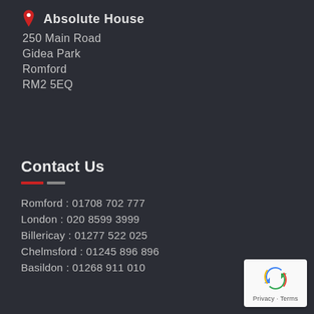Absolute House
250 Main Road
Gidea Park
Romford
RM2 5EQ
Contact Us
Romford : 01708 702 777
London  : 020 8599 3999
Billericay : 01277 522 025
Chelmsford : 01245 896 896
Basildon : 01268 911 010
[Figure (logo): Google reCAPTCHA badge with recycling arrows icon and 'Privacy - Terms' text]